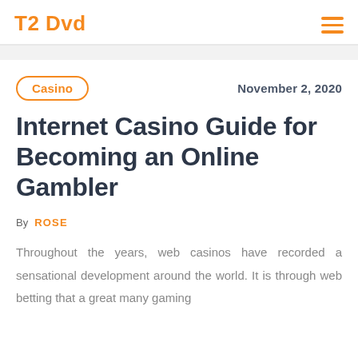T2 Dvd
Internet Casino Guide for Becoming an Online Gambler
November 2, 2020
Casino
By ROSE
Throughout the years, web casinos have recorded a sensational development around the world. It is through web betting that a great many gaming